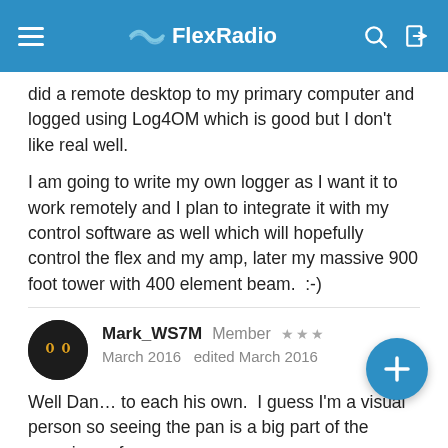FlexRadio
did a remote desktop to my primary computer and logged using Log4OM which is good but I don't like real well.
I am going to write my own logger as I want it to work remotely and I plan to integrate it with my control software as well which will hopefully control the flex and my amp, later my massive 900 foot tower with 400 element beam.  :-)
Mark_WS7M   Member   ★★★
March 2016   edited March 2016
Well Dan… to each his own.  I guess I'm a visual person so seeing the pan is a big part of the experience for me.